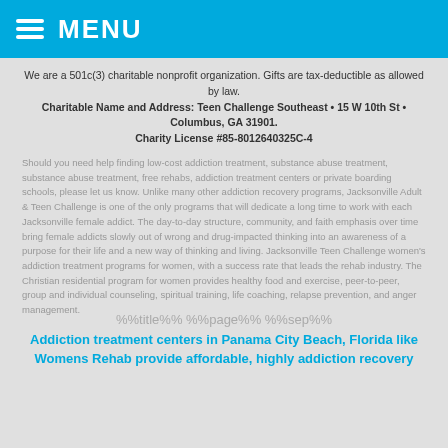MENU
We are a 501c(3) charitable nonprofit organization. Gifts are tax-deductible as allowed by law. Charitable Name and Address: Teen Challenge Southeast • 15 W 10th St • Columbus, GA 31901. Charity License #85-8012640325C-4
Should you need help finding low-cost addiction treatment, substance abuse treatment, substance abuse treatment, free rehabs, addiction treatment centers or private boarding schools, please let us know. Unlike many other addiction recovery programs, Jacksonville Adult & Teen Challenge is one of the only programs that will dedicate a long time to work with each Jacksonville female addict. The day-to-day structure, community, and faith emphasis over time bring female addicts slowly out of wrong and drug-impacted thinking into an awareness of a purpose for their life and a new way of thinking and living. Jacksonville Teen Challenge women's addiction treatment programs for women, with a success rate that leads the rehab industry. The Christian residential program for women provides healthy food and exercise, peer-to-peer, group and individual counseling, spiritual training, life coaching, relapse prevention, and anger management.
%%title%% %%page%% %%sep%%
Addiction treatment centers in Panama City Beach, Florida like Womens Rehab provide affordable, highly addiction recovery